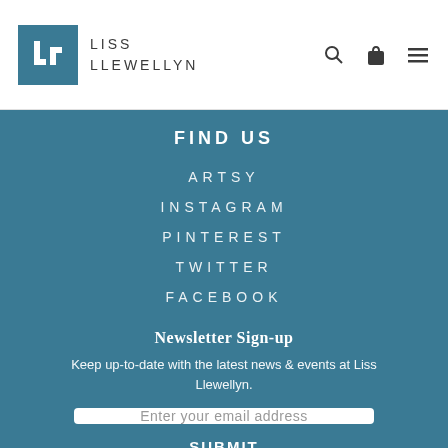Liss Llewellyn
FIND US
ARTSY
INSTAGRAM
PINTEREST
TWITTER
FACEBOOK
Newsletter Sign-up
Keep up-to-date with the latest news & events at Liss Llewellyn.
Enter your email address
SUBMIT